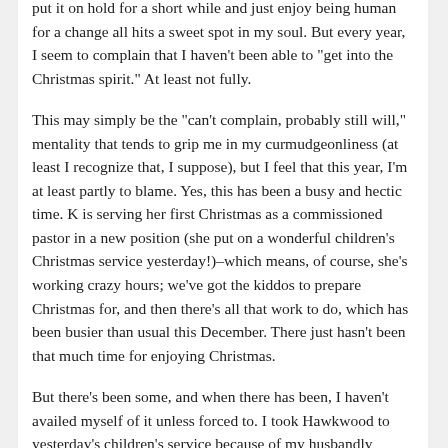put it on hold for a short while and just enjoy being human for a change all hits a sweet spot in my soul. But every year, I seem to complain that I haven't been able to "get into the Christmas spirit." At least not fully.
This may simply be the "can't complain, probably still will," mentality that tends to grip me in my curmudgeonliness (at least I recognize that, I suppose), but I feel that this year, I'm at least partly to blame. Yes, this has been a busy and hectic time. K is serving her first Christmas as a commissioned pastor in a new position (she put on a wonderful children's Christmas service yesterday!)–which means, of course, she's working crazy hours; we've got the kiddos to prepare Christmas for, and then there's all that work to do, which has been busier than usual this December. There just hasn't been that much time for enjoying Christmas.
But there's been some, and when there has been, I haven't availed myself of it unless forced to. I took Hawkwood to yesterday's children's service because of my husbandly obligation to attend and my fatherly duty to take my three-year-old. I found the service to be moving and to be one of the most enjoyable Christmas experiences I've attended in a long...